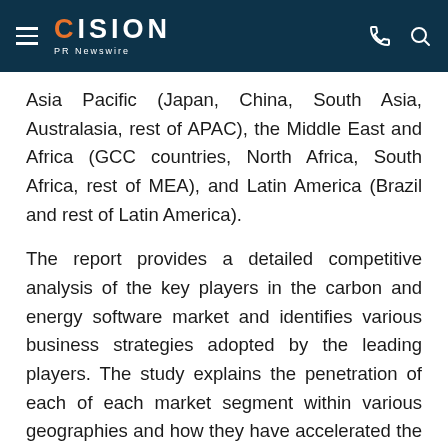CISION PR Newswire
Asia Pacific (Japan, China, South Asia, Australasia, rest of APAC), the Middle East and Africa (GCC countries, North Africa, South Africa, rest of MEA), and Latin America (Brazil and rest of Latin America).
The report provides a detailed competitive analysis of the key players in the carbon and energy software market and identifies various business strategies adopted by the leading players. The study explains the penetration of each of each market segment within various geographies and how they have accelerated the growth of the carbon and energy software market.